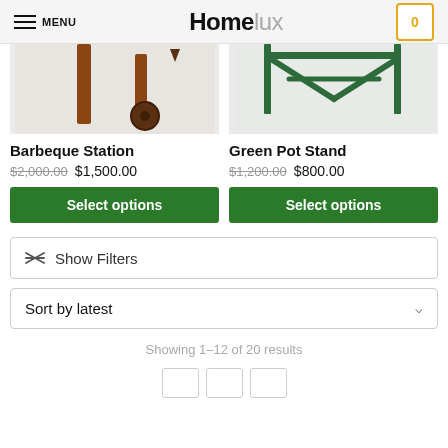MENU | Homelux | Cart: 0
[Figure (photo): Top portion of a Barbeque Station product image showing brown/wooden barbecue parts]
[Figure (photo): Top portion of a Green Pot Stand product image showing green metal stand frame]
Barbeque Station
$2,000.00  $1,500.00
Select options
Green Pot Stand
$1,200.00  $800.00
Select options
⇄ Show Filters
Sort by latest
Showing 1–12 of 20 results